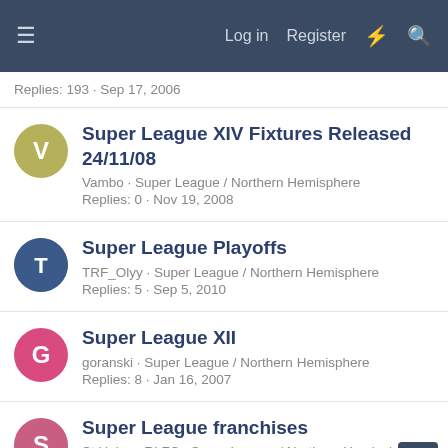≡   Log in   Register   ⚡   🔍
Replies: 193 · Sep 17, 2006
Super League XIV Fixtures Released 24/11/08
Vambo · Super League / Northern Hemisphere
Replies: 0 · Nov 19, 2008
Super League Playoffs
TRF_Olyy · Super League / Northern Hemisphere
Replies: 5 · Sep 5, 2010
Super League XII
goranski · Super League / Northern Hemisphere
Replies: 8 · Jan 16, 2007
Super League franchises
St Helens RLFC · Super League / Northern Hemisphere
Replies: 55 · Jul 24, 2008